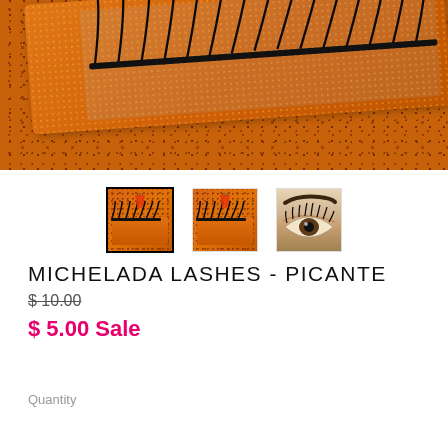[Figure (photo): Close-up product photo of false eyelashes in an orange glitter case on a speckled orange surface]
[Figure (photo): Three product thumbnail images: two showing the lash case from front on orange background, one showing the lashes applied on a model's eye]
MICHELADA LASHES - PICANTE
$ 10.00
$ 5.00 Sale
Quantity